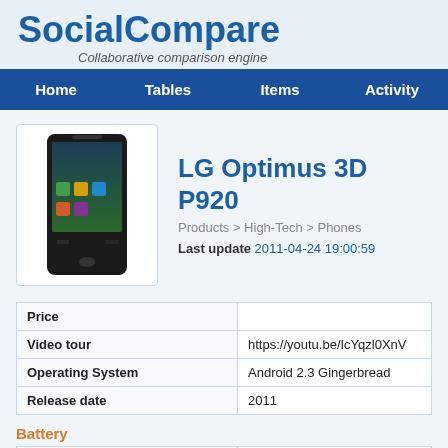SocialCompare
Collaborative comparison engine
Home | Tables | Items | Activity
[Figure (photo): LG Optimus 3D P920 smartphone photo]
LG Optimus 3D P920
Products > High-Tech > Phones
Last update 2011-04-24 19:00:59
|  |  |
| --- | --- |
| Price |  |
| Video tour | https://youtu.be/IcYqzl0XnV |
| Operating System | Android 2.3 Gingerbread |
| Release date | 2011 |
Battery
|  |  |
| --- | --- |
| Talk time | 4 h |
| Standby | 100 h |
| Removable |  |